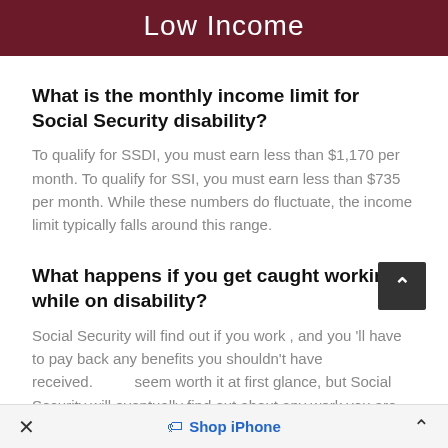Low Income
What is the monthly income limit for Social Security disability?
To qualify for SSDI, you must earn less than $1,170 per month. To qualify for SSI, you must earn less than $735 per month. While these numbers do fluctuate, the income limit typically falls around this range.
What happens if you get caught working while on disability?
Social Security will find out if you work , and you 'll have to pay back any benefits you shouldn't have received. It may seem worth it at first glance, but Social Security will eventually find out about any work you are performing
× Shop iPhone ^